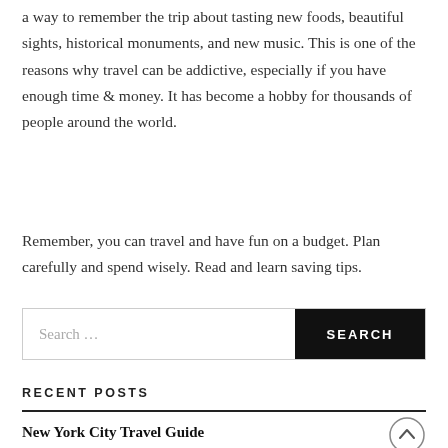a way to remember the trip about tasting new foods, beautiful sights, historical monuments, and new music. This is one of the reasons why travel can be addictive, especially if you have enough time & money. It has become a hobby for thousands of people around the world.
Remember, you can travel and have fun on a budget. Plan carefully and spend wisely. Read and learn saving tips.
Search …
RECENT POSTS
New York City Travel Guide